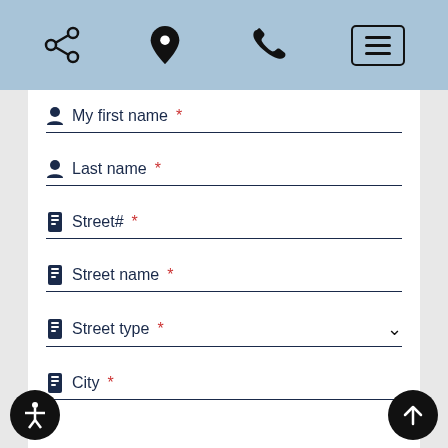[Figure (screenshot): Navigation header bar with share icon, location pin icon, phone icon, and hamburger menu button on blue background]
My first name*
Last name*
Street#*
Street name*
Street type*
City*
State*